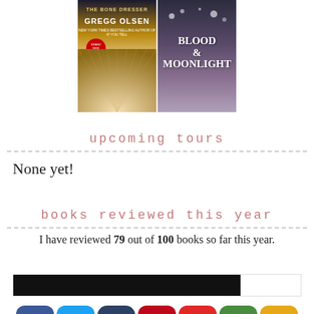[Figure (photo): Two book covers side by side: left is a dark thriller book by Gregg Olsen with a red badge, right is 'Blood and Moonlight' with a dark purple cover.]
upcoming tours
None yet!
books reviewed this year
I have reviewed 79 out of 100 books so far this year.
[Figure (other): Progress bar showing 79 out of 100 books reviewed, approximately 79% filled in black.]
[Figure (infographic): Social sharing icons row: Facebook, Twitter, Tumblr, Pinterest, Flipboard, Email, More]